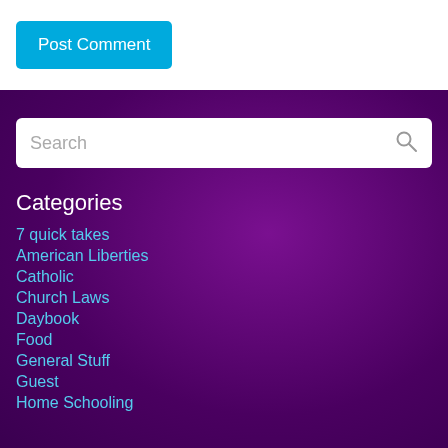[Figure (other): Post Comment button - cyan/blue rounded rectangle button with white text]
[Figure (other): Search input box with magnifying glass icon on purple background]
Categories
7 quick takes
American Liberties
Catholic
Church Laws
Daybook
Food
General Stuff
Guest
Home Schooling